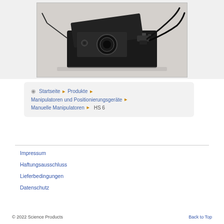[Figure (photo): Grayscale photograph of a black scientific/engineering device (manual manipulator HS 6) sitting on a light surface, with cables attached]
Startseite ▶ Produkte ▶ Manipulatoren und Positionierungsgeräte ▶ Manuelle Manipulatoren ▶ HS 6
Impressum
Haftungsausschluss
Lieferbedingungen
Datenschutz
© 2022 Science Products    Back to Top